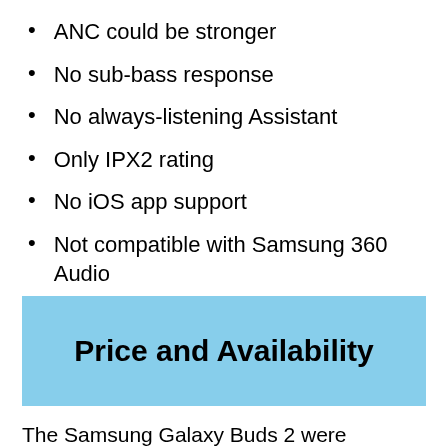ANC could be stronger
No sub-bass response
No always-listening Assistant
Only IPX2 rating
No iOS app support
Not compatible with Samsung 360 Audio
Sensitive touch controls
Price and Availability
The Samsung Galaxy Buds 2 were announced